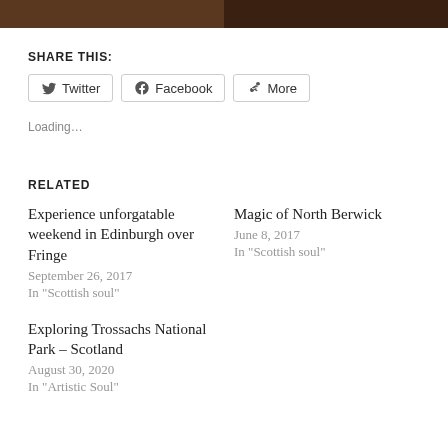[Figure (photo): Top strip showing two dark nature/travel photos side by side]
SHARE THIS:
Twitter  Facebook  More
Loading…
RELATED
Experience unforgatable weekend in Edinburgh over Fringe
September 26, 2017
In "Scottish soul"
Magic of North Berwick
June 8, 2017
In "Scottish soul"
Exploring Trossachs National Park – Scotland
August 30, 2020
In "Artistic Soul"